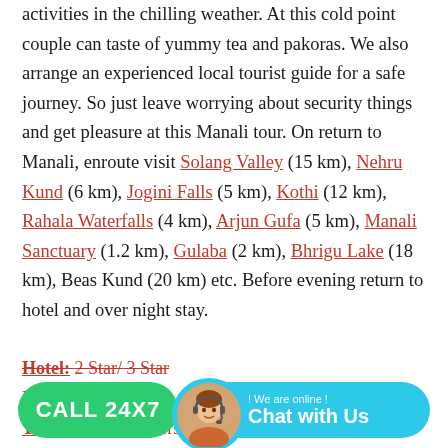activities in the chilling weather. At this cold point couple can taste of yummy tea and pakoras. We also arrange an experienced local tourist guide for a safe journey. So just leave worrying about security things and get pleasure at this Manali tour. On return to Manali, enroute visit Solang Valley (15 km), Nehru Kund (6 km), Jogini Falls (5 km), Kothi (12 km), Rahala Waterfalls (4 km), Arjun Gufa (5 km), Manali Sanctuary (1.2 km), Gulaba (2 km), Bhrigu Lake (18 km), Beas Kund (20 km) etc. Before evening return to hotel and over night stay.
Hotel: 2 Star/ 3 Star
Dinner
Transportation- Personal Tour Car
[Figure (other): Green CALL 24X7 button on bottom left and a cyan Chat with Us widget with avatar on bottom right, overlaid on the document.]